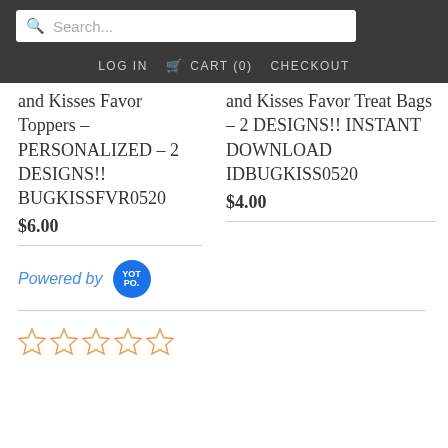Search... LOG IN CART (0) CHECKOUT
and Kisses Favor Toppers – PERSONALIZED – 2 DESIGNS!! BUGKISSFVR0520
$6.00
and Kisses Favor Treat Bags – 2 DESIGNS!! INSTANT DOWNLOAD IDBUGKISS0520
$4.00
[Figure (logo): Powered by Yotpo badge logo]
[Figure (other): Five empty star rating icons in orange/gold outline]